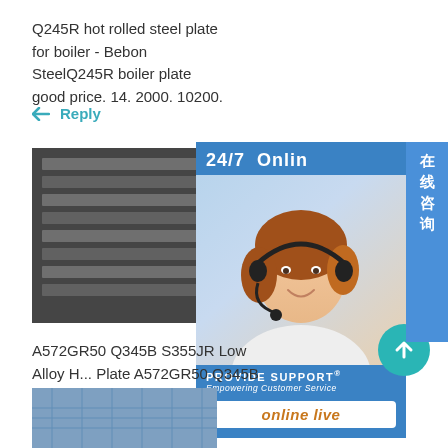Q245R hot rolled steel plate for boiler - Bebon SteelQ245R boiler plate good price. 14. 2000. 10200.
Reply
[Figure (photo): Stack of hot rolled steel plates]
[Figure (photo): 24/7 Online customer service widget with woman wearing headset, Provide Support Empowering Customer Service, online live button, and Chinese text 在线咨询]
A572GR50 Q345B S355JR Low Alloy H... Plate A572GR50 Q345B S355JR Low A... St
Reply
[Figure (photo): Industrial building or steel structure facility]